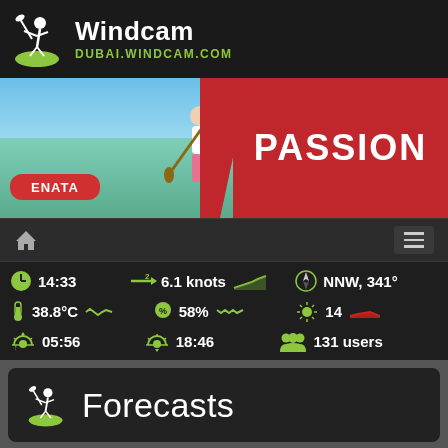Windcam — DUBAI.WINDCAM.COM
[Figure (photo): Banner image showing a person paddle boarding in turquoise water with red ENATA board, overlaid with red panel showing PASSION text]
PASSION
14:33   6.1 knots   NNW, 341°   38.8°C   58%   14   05:56   18:46   131 users